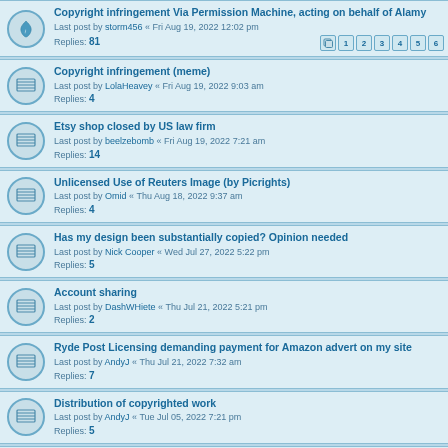Copyright infringement Via Permission Machine, acting on behalf of Alamy
Last post by storm456 « Fri Aug 19, 2022 12:02 pm
Replies: 81
Copyright infringement (meme)
Last post by LolaHeavey « Fri Aug 19, 2022 9:03 am
Replies: 4
Etsy shop closed by US law firm
Last post by beelzebomb « Fri Aug 19, 2022 7:21 am
Replies: 14
Unlicensed Use of Reuters Image (by Picrights)
Last post by Omid « Thu Aug 18, 2022 9:37 am
Replies: 4
Has my design been substantially copied? Opinion needed
Last post by Nick Cooper « Wed Jul 27, 2022 5:22 pm
Replies: 5
Account sharing
Last post by DashWHiete « Thu Jul 21, 2022 5:21 pm
Replies: 2
Ryde Post Licensing demanding payment for Amazon advert on my site
Last post by AndyJ « Thu Jul 21, 2022 7:32 am
Replies: 7
Distribution of copyrighted work
Last post by AndyJ « Tue Jul 05, 2022 7:21 pm
Replies: 5
PicRights Solicitor Letter Demanding Fee For Alleged Image Use